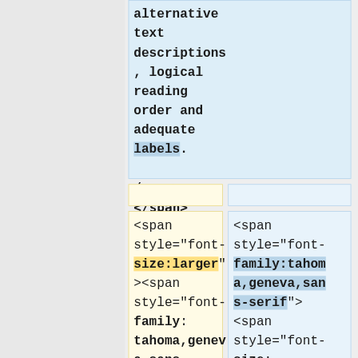alternative text descriptions, logical reading order and adequate labels.
</span>
</span>
<span style="font-size:larger"><span style="font-family:tahoma,geneva,sans-serif">The
<span style="font-family:tahoma,geneva,sans-serif"><span style="font-size:small">Digit